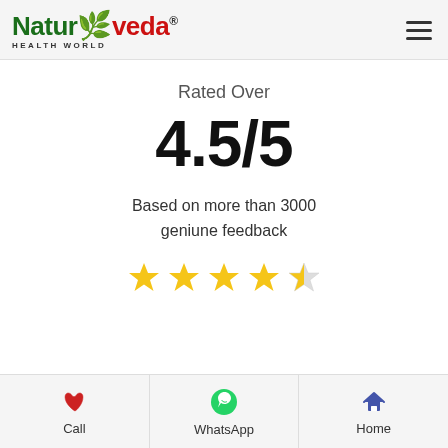[Figure (logo): Naturoveda Health World logo — green and red brand mark with leaf motif and registered trademark symbol]
Rated Over
4.5/5
Based on more than 3000 geniune feedback
[Figure (infographic): 4.5 out of 5 star rating shown as 4 full gold stars and 1 half gold star]
Call | WhatsApp | Home